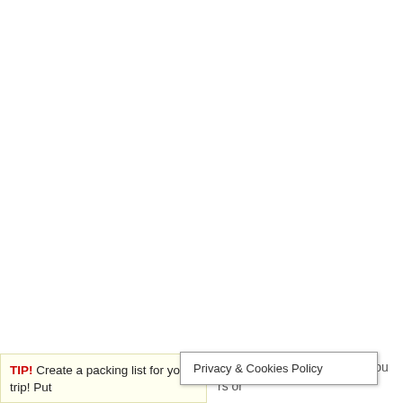TIP! Create a packing list for your trip! Put ...
Be wary of people who tell you rs or
Privacy & Cookies Policy